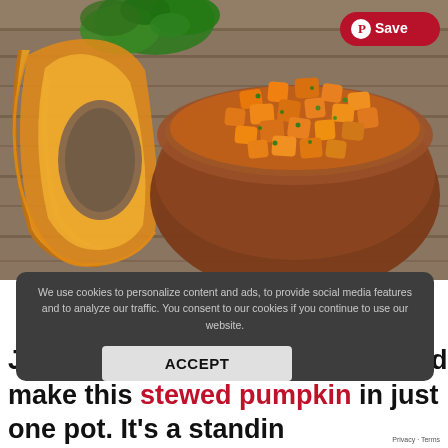[Figure (photo): Photo of a clay bowl filled with roasted orange pumpkin cubes garnished with green herbs, with a crescent-shaped pumpkin slice on a rustic wooden background. A Pinterest 'Save' button appears in the top-right corner.]
We use cookies to personalize content and ads, to provide social media features and to analyze our traffic. You consent to our cookies if you continue to use our website.
ACCEPT
Just gather all the ingredients and make this stewed pumpkin in just one pot. It's a standing perfect for fall and winter.